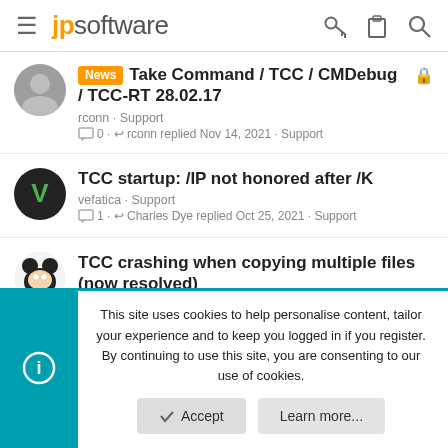jpsoftware
News Take Command / TCC / CMDebug / TCC-RT 28.02.17
rconn · Support
0 · rconn replied Nov 14, 2021 · Support
TCC startup: /IP not honored after /K
vefatica · Support
1 · Charles Dye replied Oct 25, 2021 · Support
TCC crashing when copying multiple files (now resolved)
MickeyF · Support
This site uses cookies to help personalise content, tailor your experience and to keep you logged in if you register.
By continuing to use this site, you are consenting to our use of cookies.